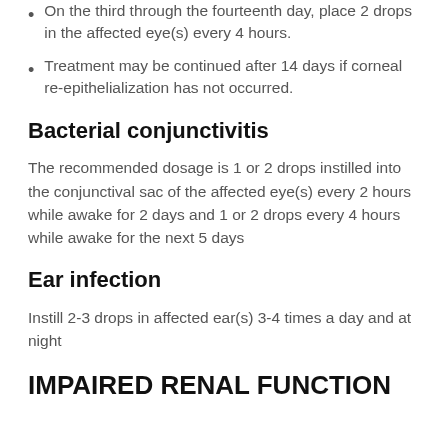On the third through the fourteenth day, place 2 drops in the affected eye(s) every 4 hours.
Treatment may be continued after 14 days if corneal re-epithelialization has not occurred.
Bacterial conjunctivitis
The recommended dosage is 1 or 2 drops instilled into the conjunctival sac of the affected eye(s) every 2 hours while awake for 2 days and 1 or 2 drops every 4 hours while awake for the next 5 days
Ear infection
Instill 2-3 drops in affected ear(s) 3-4 times a day and at night
IMPAIRED RENAL FUNCTION